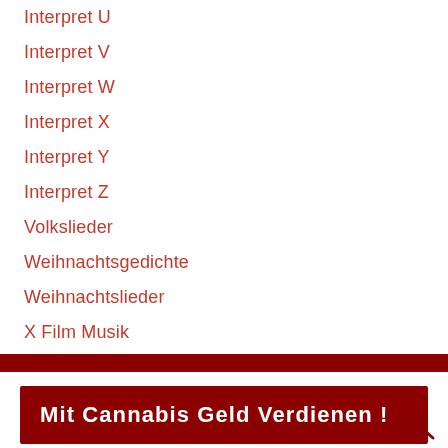Interpret U
Interpret V
Interpret W
Interpret X
Interpret Y
Interpret Z
Volkslieder
Weihnachtsgedichte
Weihnachtslieder
X Film Musik
[Figure (infographic): Dark red horizontal divider bar]
Mit Cannabis Geld Verdienen !
Mit Cannabis legal Geld verdienen !